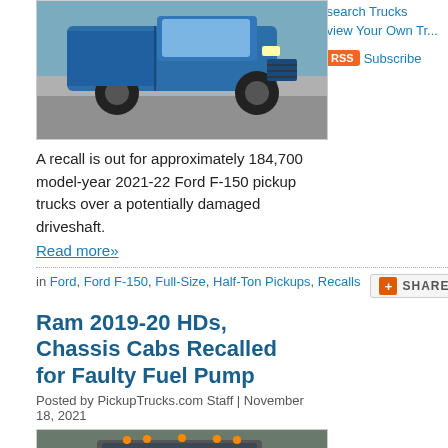[Figure (photo): Blue Ford F-150 pickup truck driving on pavement, front three-quarter view]
A recall is out for approximately 184,700 model-year 2021-22 Ford F-150 pickup trucks over a potentially damaged driveshaft.
Read more»
in Ford, Ford F-150, Full-Size, Half-Ton Pickups, Recalls
Ram 2019-20 HDs, Chassis Cabs Recalled for Faulty Fuel Pump
Posted by PickupTrucks.com Staff | November 18, 2021
[Figure (photo): Dark grey Ram HD pickup truck front view, parked outdoors]
Research Trucks
Review Your Own Tr...
Subscribe